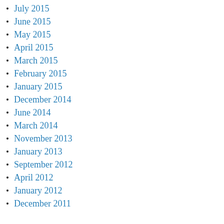July 2015
June 2015
May 2015
April 2015
March 2015
February 2015
January 2015
December 2014
June 2014
March 2014
November 2013
January 2013
September 2012
April 2012
January 2012
December 2011